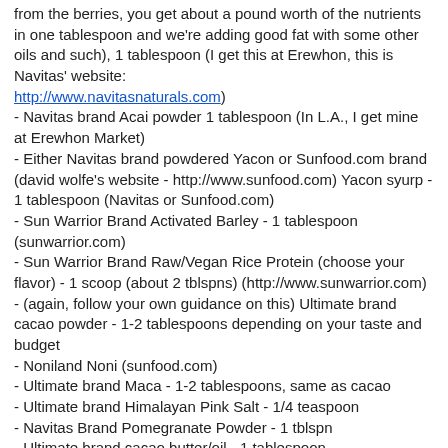from the berries, you get about a pound worth of the nutrients in one tablespoon and we're adding good fat with some other oils and such), 1 tablespoon (I get this at Erewhon, this is Navitas' website: http://www.navitasnaturals.com)
- Navitas brand Acai powder 1 tablespoon (In L.A., I get mine at Erewhon Market)
- Either Navitas brand powdered Yacon or Sunfood.com brand (david wolfe's website - http://www.sunfood.com) Yacon syurp - 1 tablespoon (Navitas or Sunfood.com)
- Sun Warrior Brand Activated Barley - 1 tablespoon (sunwarrior.com)
- Sun Warrior Brand Raw/Vegan Rice Protein (choose your flavor) - 1 scoop (about 2 tblspns) (http://www.sunwarrior.com)
- (again, follow your own guidance on this) Ultimate brand cacao powder - 1-2 tablespoons depending on your taste and budget
- Noniland Noni (sunfood.com)
- Ultimate brand Maca - 1-2 tablespoons, same as cacao
- Ultimate brand Himalayan Pink Salt - 1/4 teaspoon
- Navitas Brand Pomegranate Powder - 1 tblspn
- Ultimate brand cacao butter/oil - 1 tablespoon
- Coconut oil/butter - 1 tablespoon
- Dr. Schulze's Superfood - 2 tablespoons (herbdoc.com)
- Ocean's Alive Phytoplankton - 1 dropperful
- Y.S. Brand Bee Pollen/Propolis/Royal Jelly
- Ultimate Brand Chlorella/Spirulina - 20 "tablets"
- Really Raw Brand Honey - 1-2 tablespoons depending on